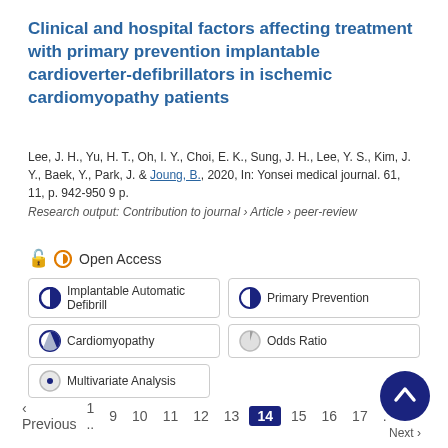Clinical and hospital factors affecting treatment with primary prevention implantable cardioverter-defibrillators in ischemic cardiomyopathy patients
Lee, J. H., Yu, H. T., Oh, I. Y., Choi, E. K., Sung, J. H., Lee, Y. S., Kim, J. Y., Baek, Y., Park, J. & Joung, B., 2020, In: Yonsei medical journal. 61, 11, p. 942-950 9 p.
Research output: Contribution to journal › Article › peer-review
Open Access
Implantable Automatic Defibrill
Primary Prevention
Cardiomyopathy
Odds Ratio
Multivariate Analysis
‹ Previous  1 .. 9  10  11  12  13  14  15  16  17  Next ›